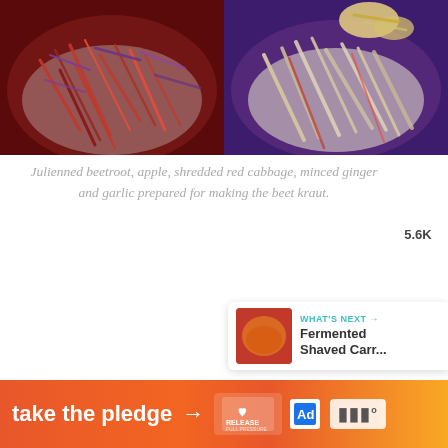[Figure (photo): Two side-by-side bowls: left bowl shows julienned red beetroot with shredded red/purple cabbage; right bowl shows julienned pale apple/beetroot with shredded purple cabbage and minced ginger on top.]
Julienned beetroot, apple, shredded red cabbage, minced ginger and garlic prepared for making the beet kraut.
[Figure (infographic): Heart/like button (teal circle with white heart icon), count label 5.6K, and share button (white circle with share icon).]
[Figure (infographic): WHAT'S NEXT card showing a small thumbnail of fermented carrots and text 'Fermented Shaved Carr...']
[Figure (infographic): Orange/gradient banner ad: 'take the pledge —>' with Release logo, ad badge, and Mute logo marks.]